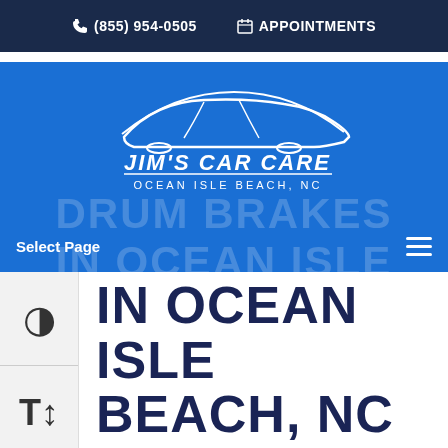(855) 954-0505  APPOINTMENTS
[Figure (logo): Jim's Car Care Ocean Isle Beach NC logo — white silhouette of car with company name]
Select Page
DRUM BRAKES IN OCEAN ISLE BEACH, NC